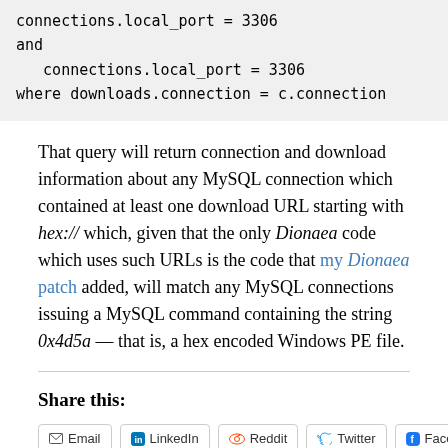[Figure (screenshot): Code block showing SQL snippet: 'and connections.local_port = 3306 where downloads.connection = c.connection']
That query will return connection and download information about any MySQL connection which contained at least one download URL starting with hex:// which, given that the only Dionaea code which uses such URLs is the code that my Dionaea patch added, will match any MySQL connections issuing a MySQL command containing the string 0x4d5a — that is, a hex encoded Windows PE file.
Share this:
Email
LinkedIn
Reddit
Twitter
Facebook